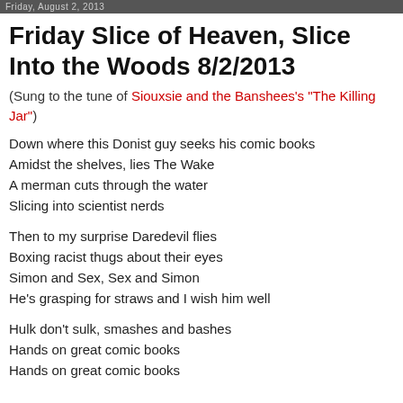Friday, August 2, 2013
Friday Slice of Heaven, Slice Into the Woods 8/2/2013
(Sung to the tune of Siouxsie and the Banshees's "The Killing Jar")
Down where this Donist guy seeks his comic books
Amidst the shelves, lies The Wake
A merman cuts through the water
Slicing into scientist nerds
Then to my surprise Daredevil flies
Boxing racist thugs about their eyes
Simon and Sex, Sex and Simon
He's grasping for straws and I wish him well
Hulk don't sulk, smashes and bashes
Hands on great comic books
Hands on great comic books